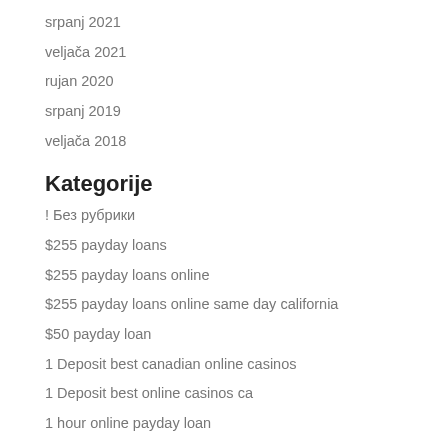srpanj 2021
veljača 2021
rujan 2020
srpanj 2019
veljača 2018
Kategorije
! Без рубрики
$255 payday loans
$255 payday loans online
$255 payday loans online same day california
$50 payday loan
1 Deposit best canadian online casinos
1 Deposit best online casinos ca
1 hour online payday loan